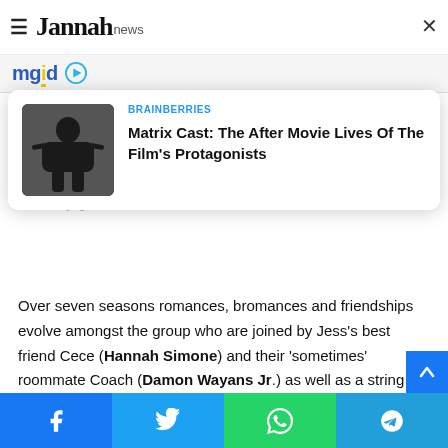Jannah news
[Figure (logo): mgid logo with play button icon]
[Figure (infographic): Ad card overlay showing Matrix Cast article from BRAINBERRIES with thumbnail of person in black outfit]
Over seven seasons romances, bromances and friendships evolve amongst the group who are joined by Jess’s best friend Cece (Hannah Simone) and their ‘sometimes’ roommate Coach (Damon Wayans Jr.) as well as a string of superstar guests including Taylor Swift, Megan Fox, and the one and only Prince
Facebook Twitter WhatsApp Telegram